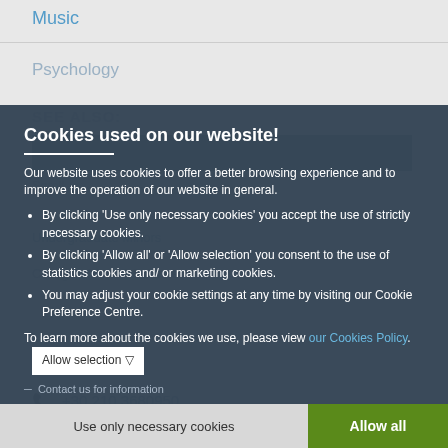Music
Psychology
SEE ALSO:
Cookies used on our website!
Our website uses cookies to offer a better browsing experience and to improve the operation of our website in general.
By clicking 'Use only necessary cookies' you accept the use of strictly necessary cookies.
By clicking 'Allow all' or 'Allow selection' you consent to the use of statistics cookies and/ or marketing cookies.
You may adjust your cookie settings at any time by visiting our Cookie Preference Centre.
To learn more about the cookies we use, please view our Cookies Policy.
Allow selection ▽
Admissions
+30 210 3680950
— Contact us for information
Use only necessary cookies
Allow all